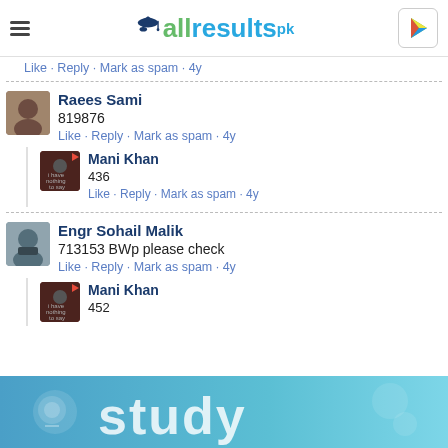allresults.pk
Like · Reply · Mark as spam · 4y
Raees Sami
819876
Like · Reply · Mark as spam · 4y
Mani Khan
436
Like · Reply · Mark as spam · 4y
Engr Sohail Malik
713153 BWp please check
Like · Reply · Mark as spam · 4y
Mani Khan
452
[Figure (screenshot): study banner image at bottom]